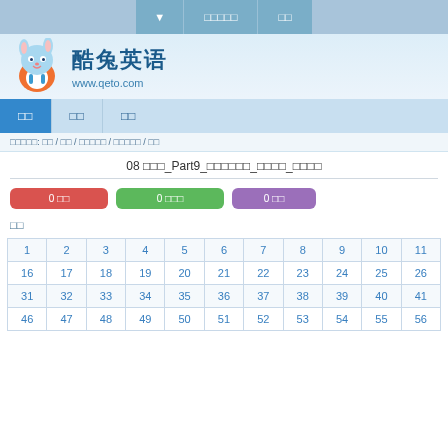▼  □□□□□  □□
[Figure (logo): Cool Rabbit English logo with cartoon rabbit and text 酷兔英语 www.qeto.com]
□□  □□  □□
□□□□□: □□ / □□ / □□□□□ / □□□□□ / □□
08 □□□_Part9_□□□□□□_□□□□_□□□□
0 □□   0 □□□   0 □□
□□
| 1 | 2 | 3 | 4 | 5 | 6 | 7 | 8 | 9 | 10 | 11 |
| --- | --- | --- | --- | --- | --- | --- | --- | --- | --- | --- |
| 16 | 17 | 18 | 19 | 20 | 21 | 22 | 23 | 24 | 25 | 26 |
| 31 | 32 | 33 | 34 | 35 | 36 | 37 | 38 | 39 | 40 | 41 |
| 46 | 47 | 48 | 49 | 50 | 51 | 52 | 53 | 54 | 55 | 56 |